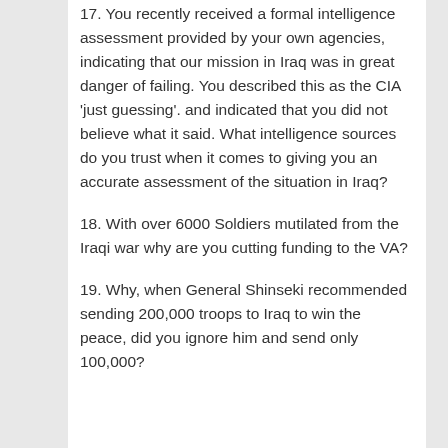17. You recently received a formal intelligence assessment provided by your own agencies, indicating that our mission in Iraq was in great danger of failing. You described this as the CIA 'just guessing'. and indicated that you did not believe what it said. What intelligence sources do you trust when it comes to giving you an accurate assessment of the situation in Iraq?
18. With over 6000 Soldiers mutilated from the Iraqi war why are you cutting funding to the VA?
19. Why, when General Shinseki recommended sending 200,000 troops to Iraq to win the peace, did you ignore him and send only 100,000?